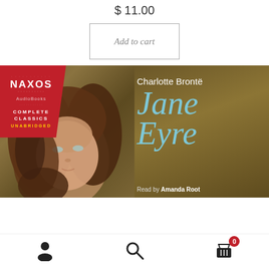$ 11.00
Add to cart
[Figure (photo): Cover of the Naxos AudioBooks edition of Jane Eyre by Charlotte Brontë, read by Amanda Root. Features the Naxos Complete Classics Unabridged red badge on the left, a portrait of a young woman with curly brown hair in the center-left, and large italic blue text 'Jane Eyre' with the author name 'Charlotte Brontë' in white on a dark olive/brown background.]
Navigation bar with person icon, search icon, and cart icon with badge showing 0